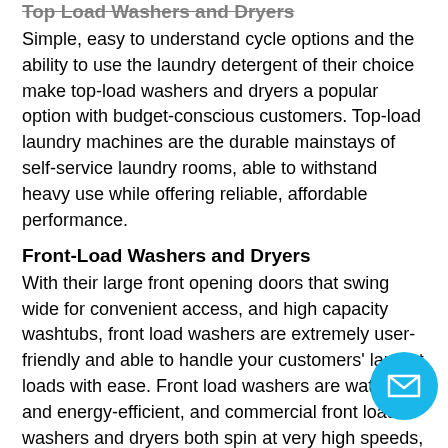Top Load Washers and Dryers
Simple, easy to understand cycle options and the ability to use the laundry detergent of their choice make top-load washers and dryers a popular option with budget-conscious customers. Top-load laundry machines are the durable mainstays of self-service laundry rooms, able to withstand heavy use while offering reliable, affordable performance.
Front-Load Washers and Dryers
With their large front opening doors that swing wide for convenient access, and high capacity washtubs, front load washers are extremely user-friendly and able to handle your customers' largest loads with ease. Front load washers are water- and energy-efficient, and commercial front load washers and dryers both spin at very high speeds, extracting a large volume of water so clothes dry very quickly. Offering convenience and low cost of operation, front load laundry equipment is the perfect option for laundry rooms of all sizes.